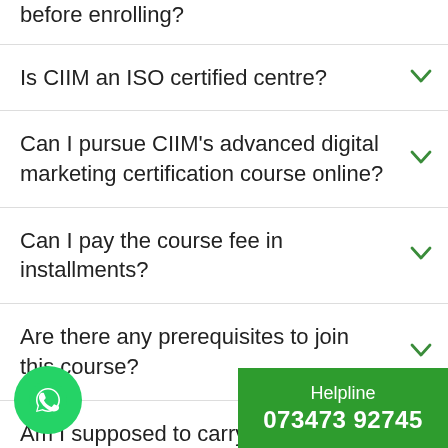before enrolling?
Is CIIM an ISO certified centre?
Can I pursue CIIM's advanced digital marketing certification course online?
Can I pay the course fee in installments?
Are there any prerequisites to join this course?
Am I supposed to carry my own laptop for this course?
Helpline 073473 92745